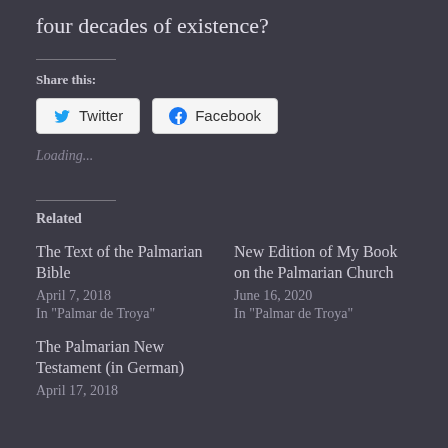four decades of existence?
Share this:
Twitter  Facebook
Loading...
Related
The Text of the Palmarian Bible
April 7, 2018
In "Palmar de Troya"
New Edition of My Book on the Palmarian Church
June 16, 2020
In "Palmar de Troya"
The Palmarian New Testament (in German)
April 17, 2018